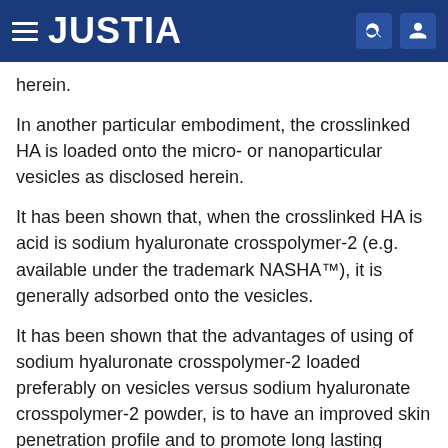JUSTIA
herein.
In another particular embodiment, the crosslinked HA is loaded onto the micro- or nanoparticular vesicles as disclosed herein.
It has been shown that, when the crosslinked HA is acid is sodium hyaluronate crosspolymer-2 (e.g. available under the trademark NASHA™), it is generally adsorbed onto the vesicles.
It has been shown that the advantages of using of sodium hyaluronate crosspolymer-2 loaded preferably on vesicles versus sodium hyaluronate crosspolymer-2 powder, is to have an improved skin penetration profile and to promote long lasting deeper hydration effect once applied onto the skin. Moreover, as compared to other...